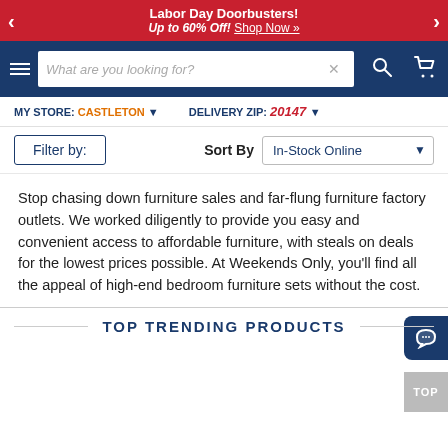Labor Day Doorbusters! Up to 60% Off! Shop Now »
[Figure (screenshot): Website navigation bar with hamburger menu, search box, search button, and cart icon on dark blue background]
MY STORE: CASTLETON ▾   DELIVERY ZIP: 20147 ▾
Filter by:   Sort By  In-Stock Online ▼
Stop chasing down furniture sales and far-flung furniture factory outlets. We worked diligently to provide you easy and convenient access to affordable furniture, with steals on deals for the lowest prices possible. At Weekends Only, you'll find all the appeal of high-end bedroom furniture sets without the cost.
TOP TRENDING PRODUCTS